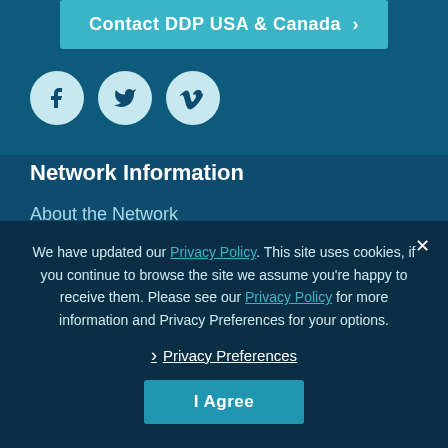Contact DDP USA & Canada ›
[Figure (illustration): Three social media icons: Facebook (f), Twitter (bird), and Vimeo (V) as circular light-colored buttons on dark teal background]
Network Information
About the Network
Help
Privacy Policy
Donate
We have updated our Privacy Policy. This site uses cookies, if you continue to browse the site we assume you're happy to receive them. Please see our Privacy Policy for more information and Privacy Preferences for your options.
› Privacy Preferences
I Agree